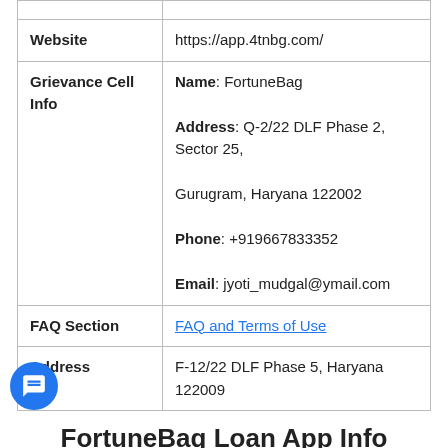| Field | Value |
| --- | --- |
| Website | https://app.4tnbg.com/ |
| Grievance Cell Info | Name: FortuneBag
Address: Q-2/22 DLF Phase 2, Sector 25, Gurugram, Haryana 122002
Phone: +919667833352
Email: jyoti_mudgal@ymail.com |
| FAQ Section | FAQ and Terms of Use |
| Address | F-12/22 DLF Phase 5, Haryana 122009 |
FortuneBag Loan App Info
| Field | Value |
| --- | --- |
| Company Name | FortuneBag Loan App |
| Business Info | Personal Loan, FortuneBag App, FortuneBag Loan App, EMI, Change Loan, Processing Fee, NTC, Category, Salaried... |